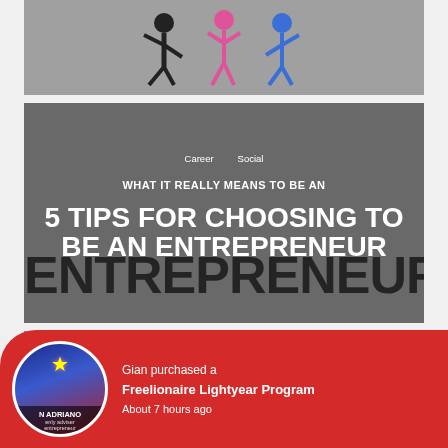[Figure (screenshot): Top cropped image showing colorful stick figures (black, pink, blue) on a grey background]
[Figure (screenshot): Middle article card with blurred background, overlaid text: 'Career' and 'Social' tags, title 'WHAT IT REALLY MEANS TO BE AN ENTREPRENEUR', and overlay text '5 TIPS FOR CHOOSING TO BE AN ENTREPRENEUR']
[Figure (screenshot): Bottom article card with grey blurred background showing 'Career' and 'Financial' tags, partially visible]
Gian purchased a
Freelionaire Lightyear Program
About 7 hours ago